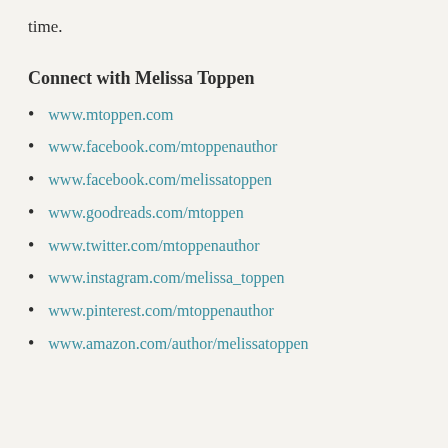time.
Connect with Melissa Toppen
www.mtoppen.com
www.facebook.com/mtoppenauthor
www.facebook.com/melissatoppen
www.goodreads.com/mtoppen
www.twitter.com/mtoppenauthor
www.instagram.com/melissa_toppen
www.pinterest.com/mtoppenauthor
www.amazon.com/author/melissatoppen